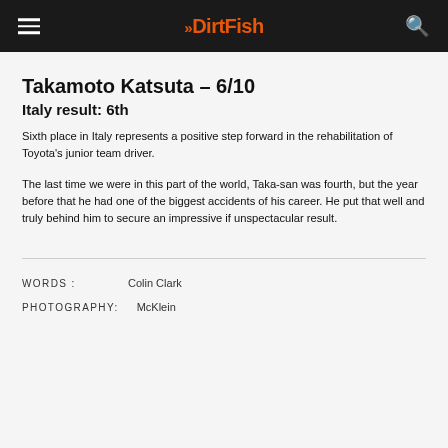DirtFish
Takamoto Katsuta – 6/10
Italy result: 6th
Sixth place in Italy represents a positive step forward in the rehabilitation of Toyota's junior team driver.
The last time we were in this part of the world, Taka-san was fourth, but the year before that he had one of the biggest accidents of his career. He put that well and truly behind him to secure an impressive if unspectacular result.
WORDS :   Colin Clark
PHOTOGRAPHY:   McKlein